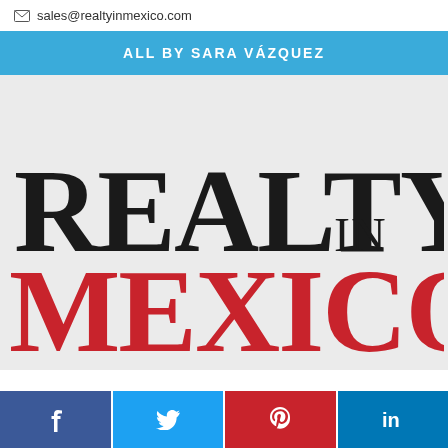sales@realtyinmexico.com
ALL BY SARA VÁZQUEZ
[Figure (logo): Realty in Mexico logo with large black serif text 'REALTY IN' and large red serif text 'MEXICO' on a light gray background]
f  t  p  in